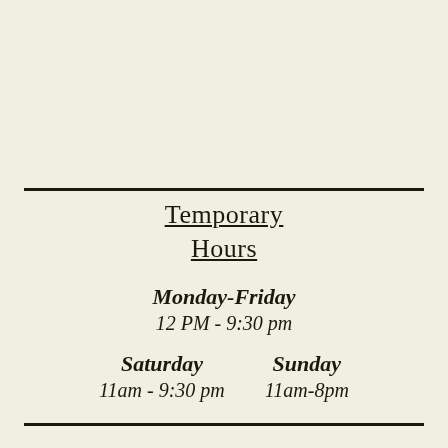Temporary Hours
Monday-Friday
12 PM - 9:30 pm
Saturday
11am - 9:30 pm
Sunday
11am-8pm